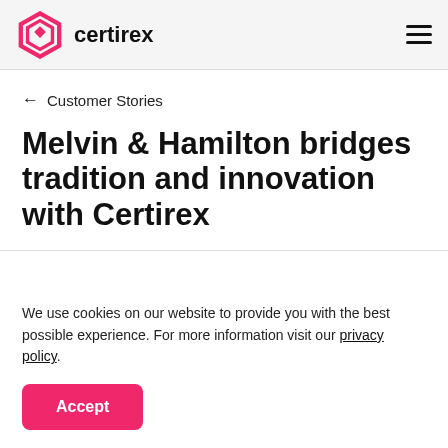certirex
← Customer Stories
Melvin & Hamilton bridges tradition and innovation with Certirex
We use cookies on our website to provide you with the best possible experience. For more information visit our privacy policy.
Accept